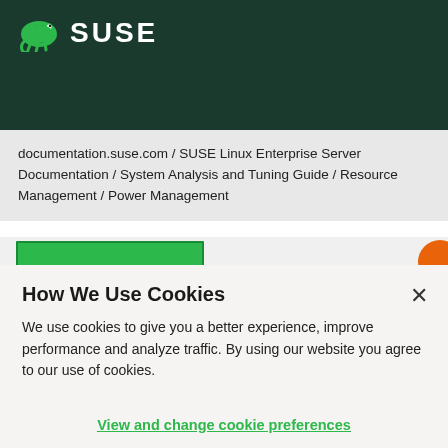[Figure (logo): SUSE logo with green chameleon icon and white SUSE text on dark green background]
documentation.suse.com / SUSE Linux Enterprise Server Documentation / System Analysis and Tuning Guide / Resource Management / Power Management
[Figure (screenshot): Green button bar with orange circle partially visible on right]
How We Use Cookies
We use cookies to give you a better experience, improve performance and analyze traffic. By using our website you agree to our use of cookies.
View and change cookie preferences